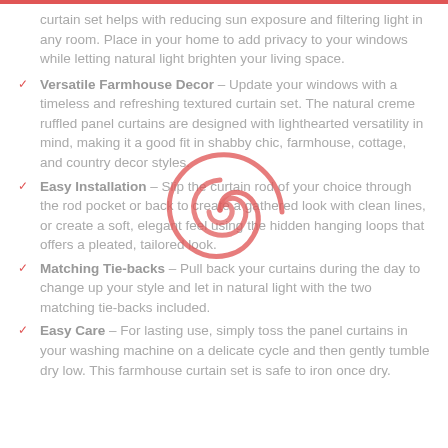curtain set helps with reducing sun exposure and filtering light in any room. Place in your home to add privacy to your windows while letting natural light brighten your living space.
Versatile Farmhouse Decor – Update your windows with a timeless and refreshing textured curtain set. The natural creme ruffled panel curtains are designed with lighthearted versatility in mind, making it a good fit in shabby chic, farmhouse, cottage, and country decor styles.
Easy Installation – Slip the curtain rod of your choice through the rod pocket or back to create a gathered look with clean lines, or create a soft, elegant feel using the hidden hanging loops that offers a pleated, tailored look.
Matching Tie-backs – Pull back your curtains during the day to change up your style and let in natural light with the two matching tie-backs included.
Easy Care – For lasting use, simply toss the panel curtains in your washing machine on a delicate cycle and then gently tumble dry low. This farmhouse curtain set is safe to iron once dry.